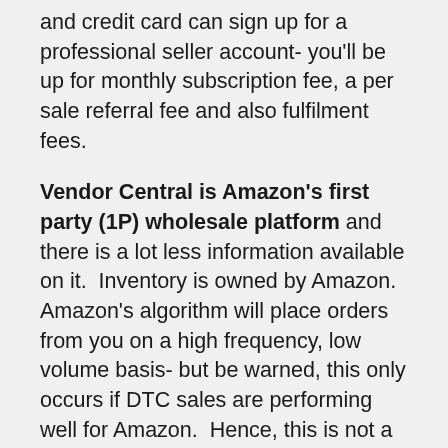and credit card can sign up for a professional seller account- you'll be up for monthly subscription fee, a per sale referral fee and also fulfilment fees.
Vendor Central is Amazon's first party (1P) wholesale platform and there is a lot less information available on it. Inventory is owned by Amazon. Amazon's algorithm will place orders from you on a high frequency, low volume basis- but be warned, this only occurs if DTC sales are performing well for Amazon. Hence, this is not a hands off, set and forget engagement with Amazon. If you want healthy wholesale numbers, you need to make sure DTC performance is optimised by ensuring your product listings reflect best-in-class standards to achieve organic discoverability. You will also absolutely need to